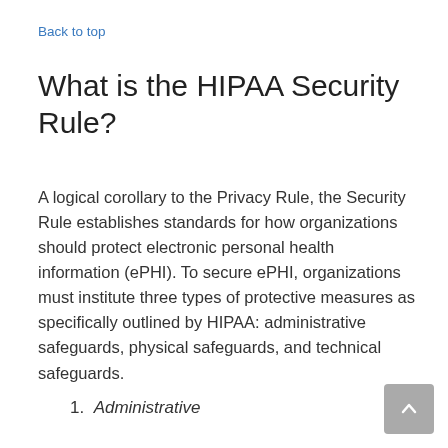Back to top
What is the HIPAA Security Rule?
A logical corollary to the Privacy Rule, the Security Rule establishes standards for how organizations should protect electronic personal health information (ePHI). To secure ePHI, organizations must institute three types of protective measures as specifically outlined by HIPAA: administrative safeguards, physical safeguards, and technical safeguards.
1. Administrative